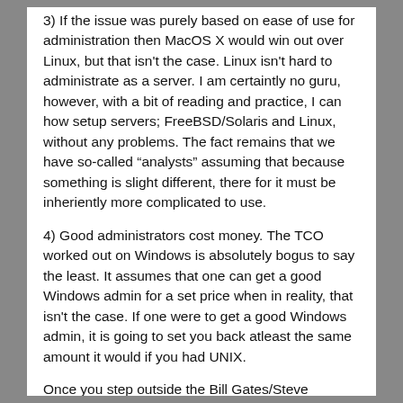3) If the issue was purely based on ease of use for administration then MacOS X would win out over Linux, but that isn't the case. Linux isn't hard to administrate as a server. I am certaintly no guru, however, with a bit of reading and practice, I can how setup servers; FreeBSD/Solaris and Linux, without any problems. The fact remains that we have so-called “analysts” assuming that because something is slight different, there for it must be inheriently more complicated to use.
4) Good administrators cost money. The TCO worked out on Windows is absolutely bogus to say the least. It assumes that one can get a good Windows admin for a set price when in reality, that isn't the case. If one were to get a good Windows admin, it is going to set you back atleast the same amount it would if you had UNIX.
Once you step outside the Bill Gates/Steve Balmer/Microsoft reality